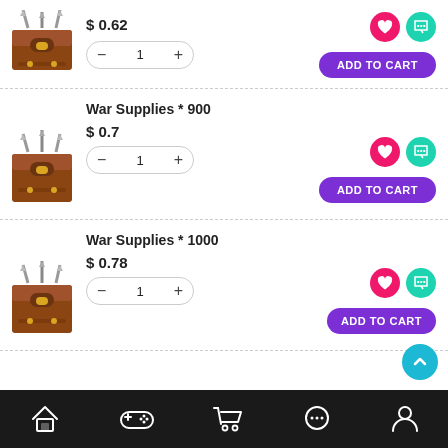$ 0.62
War Supplies * 900
$ 0.7
War Supplies * 1000
$ 0.78